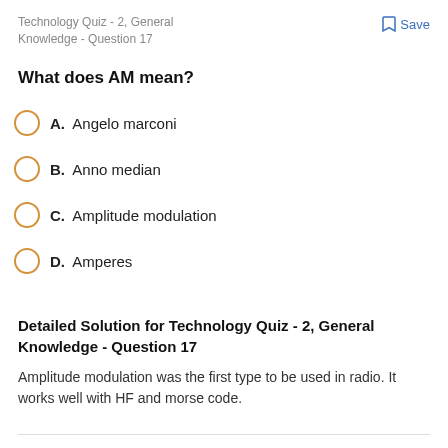Technology Quiz - 2, General Knowledge - Question 17
Save
What does AM mean?
A. Angelo marconi
B. Anno median
C. Amplitude modulation
D. Amperes
Detailed Solution for Technology Quiz - 2, General Knowledge - Question 17
Amplitude modulation was the first type to be used in radio. It works well with HF and morse code.